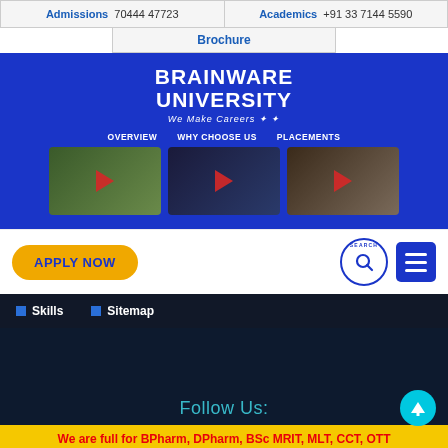Admissions 70444 47723 | Academics +91 33 7144 5590
Brochure
[Figure (screenshot): Brainware University hero section with logo, tagline 'We Make Careers', and three video thumbnails for Overview, Why Choose Us, and Placements]
APPLY NOW
Skills
Sitemap
Follow Us:
We are full for BPharm, DPharm, BSc MRIT, MLT, CCT, OTT Seats for other courses are FAST FILLING!